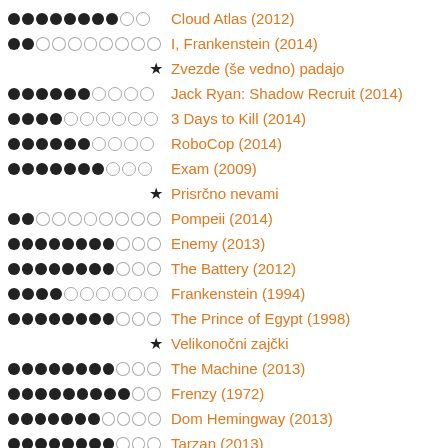●●●●●●●●○○ Cloud Atlas (2012)
●●○○○○○○○○ I, Frankenstein (2014)
★ Zvezde (še vedno) padajo
●●●●●●○○○○ Jack Ryan: Shadow Recruit (2014)
●●●●○○○○○○ 3 Days to Kill (2014)
●●●●●●○○○○ RoboCop (2014)
●●●●●●●○○○ Exam (2009)
★ Prisrčno nevami
●●○○○○○○○○ Pompeii (2014)
●●●●●●●●○○○ Enemy (2013)
●●●●●●●●○○○ The Battery (2012)
●●●●○○○○○○ Frankenstein (1994)
●●●●●●●●○○○ The Prince of Egypt (1998)
★ Velikonočni zajčki
●●●●●●●●○○○ The Machine (2013)
●●●●●●●●●○○ Frenzy (1972)
●●●●●●●○○○○ Dom Hemingway (2013)
●●●●●●●●○○○ Tarzan (2013)